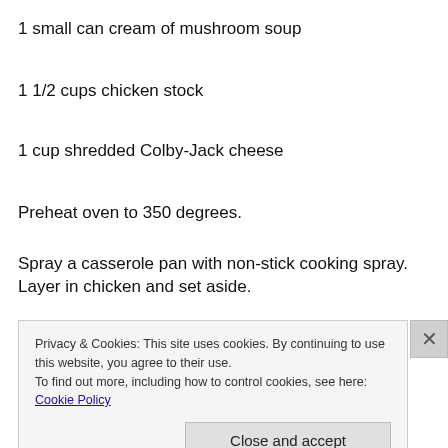1 small can cream of mushroom soup
1 1/2 cups chicken stock
1 cup shredded Colby-Jack cheese
Preheat oven to 350 degrees.
Spray a casserole pan with non-stick cooking spray. Layer in chicken and set aside.
In a micro-wave safe bowl, cook veggies in chicken stock (or water) for about two minutes. You can also add your
Privacy & Cookies: This site uses cookies. By continuing to use this website, you agree to their use.
To find out more, including how to control cookies, see here: Cookie Policy